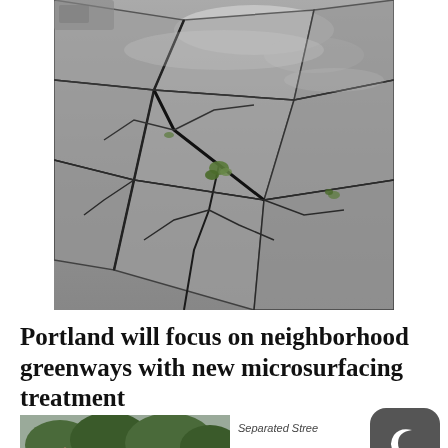[Figure (photo): Close-up photograph of a heavily cracked asphalt road surface with weeds growing through the cracks]
Portland will focus on neighborhood greenways with new microsurfacing treatment
[Figure (photo): Partially visible photo of a neighborhood street with trees and a sign]
Separated Stree